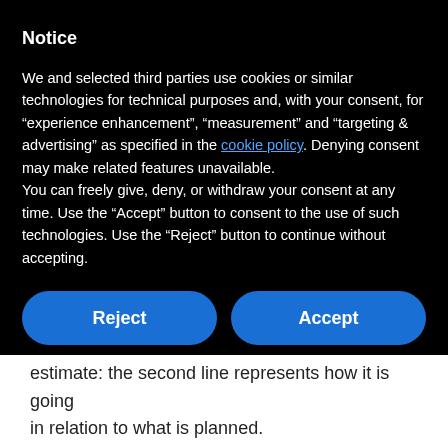Notice
We and selected third parties use cookies or similar technologies for technical purposes and, with your consent, for “experience enhancement”, “measurement” and “targeting & advertising” as specified in the cookie policy. Denying consent may make related features unavailable.
You can freely give, deny, or withdraw your consent at any time. Use the “Accept” button to consent to the use of such technologies. Use the “Reject” button to continue without accepting.
Reject
Accept
Learn more and customize
estimate: the second line represents how it is going in relation to what is planned.